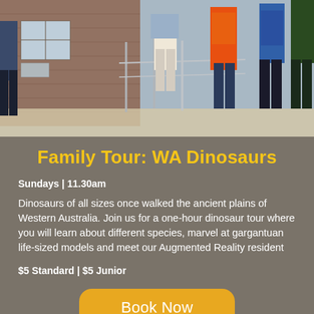[Figure (photo): Group of people/children standing outdoors near a building with railings, viewed from waist down, wearing colorful clothing including orange vest]
Family Tour: WA Dinosaurs
Sundays | 11.30am
Dinosaurs of all sizes once walked the ancient plains of Western Australia. Join us for a one-hour dinosaur tour where you will learn about different species, marvel at gargantuan life-sized models and meet our Augmented Reality resident
$5 Standard | $5 Junior
Book Now